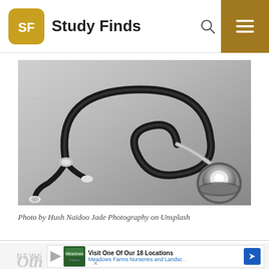Study Finds
[Figure (photo): Black and white close-up photograph of a stethoscope lying on a surface, showing the chest piece (diaphragm) and tubing coiled in the foreground.]
Photo by Hush Naidoo Jade Photography on Unsplash
NEWS
Visit One Of Our 18 Locations
Meadows Farms Nurseries and Landsc...
Oth...